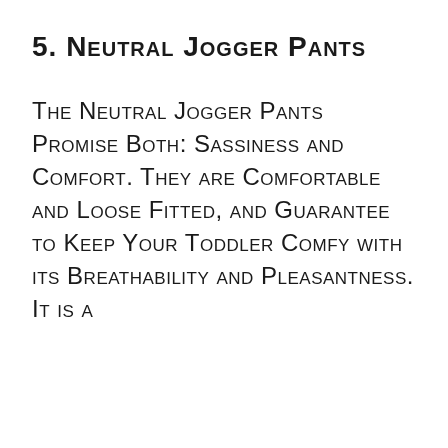5. NEUTRAL JOGGER PANTS
THE NEUTRAL JOGGER PANTS PROMISE BOTH: SASSINESS AND COMFORT. THEY ARE COMFORTABLE AND LOOSE FITTED, AND GUARANTEE TO KEEP YOUR TODDLER COMFY WITH ITS BREATHABILITY AND PLEASANTNESS. IT IS A